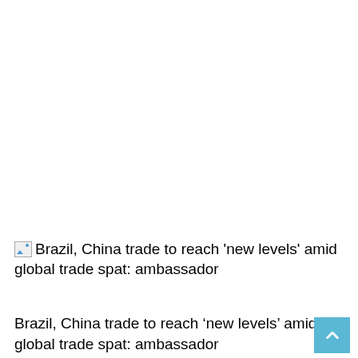[Figure (other): Broken image placeholder with alt text: Brazil, China trade to reach 'new levels' amid global trade spat: ambassador]
Brazil, China trade to reach ‘new levels’ amid global trade spat: ambassador